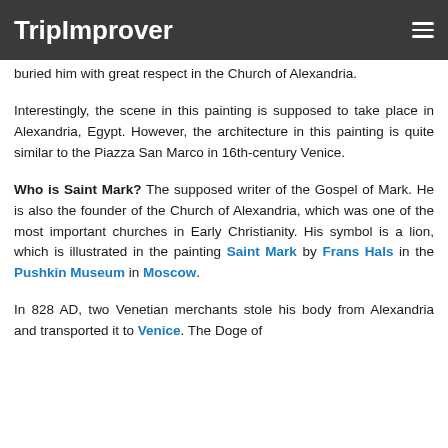TripImprover
buried him with great respect in the Church of Alexandria.
Interestingly, the scene in this painting is supposed to take place in Alexandria, Egypt. However, the architecture in this painting is quite similar to the Piazza San Marco in 16th-century Venice.
Who is Saint Mark? The supposed writer of the Gospel of Mark. He is also the founder of the Church of Alexandria, which was one of the most important churches in Early Christianity. His symbol is a lion, which is illustrated in the painting Saint Mark by Frans Hals in the Pushkin Museum in Moscow.
In 828 AD, two Venetian merchants stole his body from Alexandria and transported it to Venice. The Doge of